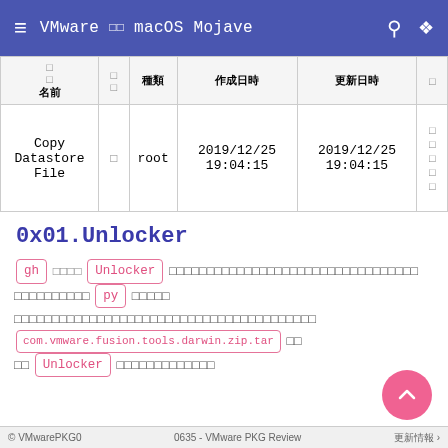VMware でmacOS Mojave
| 名前 | □□ | 種類 | 作成日時 | 更新日時 | □ |
| --- | --- | --- | --- | --- | --- |
| Copy Datastore File | □ | root | 2019/12/25 19:04:15 | 2019/12/25 19:04:15 | □□□□□ |
0x01.Unlocker
gh で検索するとUnlocker というツールが見つかります。このツールはpyで書かれており、VMwareフォルダにあるcom.vmware.fusion.tools.darwin.zip.tarを解凍してUnlocker ツールに放り込むといいらしい。